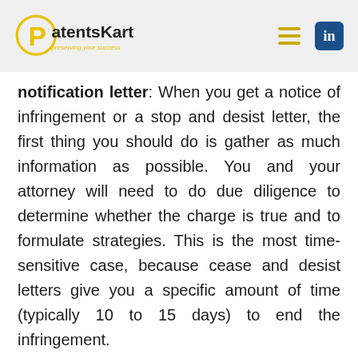[Figure (logo): PatentsKart logo — circular P icon in yellow with 'PatentsKart' text and tagline 'preserving your success' in yellow]
notification letter: When you get a notice of infringement or a stop and desist letter, the first thing you should do is gather as much information as possible. You and your attorney will need to do due diligence to determine whether the charge is true and to formulate strategies. This is the most time-sensitive case, because cease and desist letters give you a specific amount of time (typically 10 to 15 days) to end the infringement.